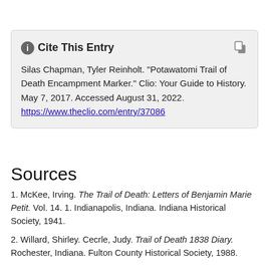Cite This Entry
Silas Chapman, Tyler Reinholt. "Potawatomi Trail of Death Encampment Marker." Clio: Your Guide to History. May 7, 2017. Accessed August 31, 2022. https://www.theclio.com/entry/37086
Sources
1. McKee, Irving. The Trail of Death: Letters of Benjamin Marie Petit. Vol. 14. 1. Indianapolis, Indiana. Indiana Historical Society, 1941.
2. Willard, Shirley. Cecrle, Judy. Trail of Death 1838 Diary. Rochester, Indiana. Fulton County Historical Society, 1988.